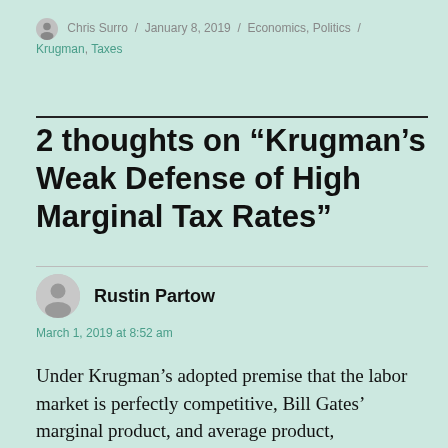Chris Surro / January 8, 2019 / Economics, Politics / Krugman, Taxes
2 thoughts on “Krugman’s Weak Defense of High Marginal Tax Rates”
Rustin Partow
March 1, 2019 at 8:52 am
Under Krugman’s adopted premise that the labor market is perfectly competitive, Bill Gates’ marginal product, and average product,